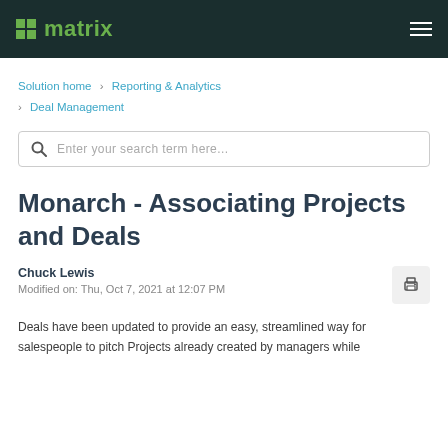matrix
Solution home › Reporting & Analytics › Deal Management
Enter your search term here...
Monarch - Associating Projects and Deals
Chuck Lewis
Modified on: Thu, Oct 7, 2021 at 12:07 PM
Deals have been updated to provide an easy, streamlined way for salespeople to pitch Projects already created by managers while